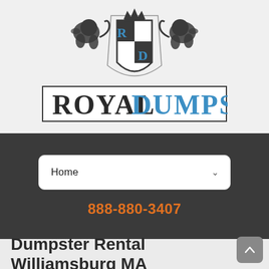[Figure (logo): Royal Dumpster logo with heraldic crest (two lions flanking a shield with R and D letters, crown on top) above the company name 'ROYAL DUMPSTER' in large serif/sans lettering with a border rectangle]
Home
888-880-3407
Dumpster Rental Williamsburg MA